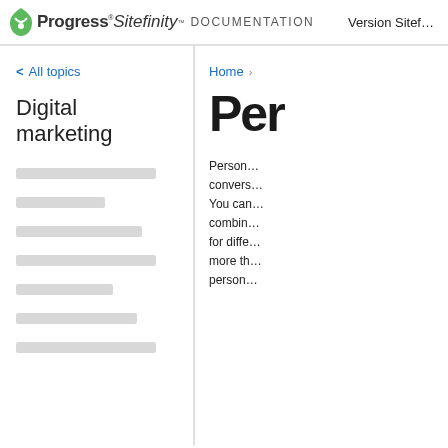Progress Sitefinity DOCUMENTATION   Version Sitef…
< All topics
Digital marketing
[Figure (other): Skeleton loading placeholder lines in left panel]
Home >
Per…
Person… convers… You can… combin… for diffe… more th… person…